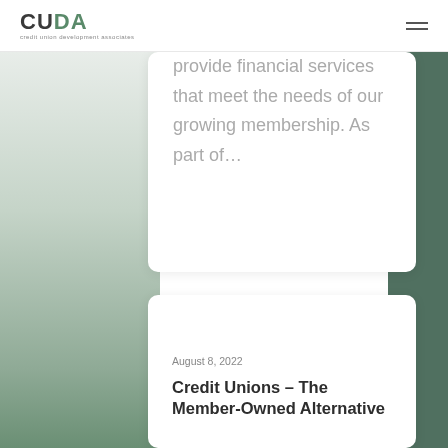CUDA credit union development associates
provide financial services that meet the needs of our growing membership. As part of…
August 8, 2022
Credit Unions – The Member-Owned Alternative